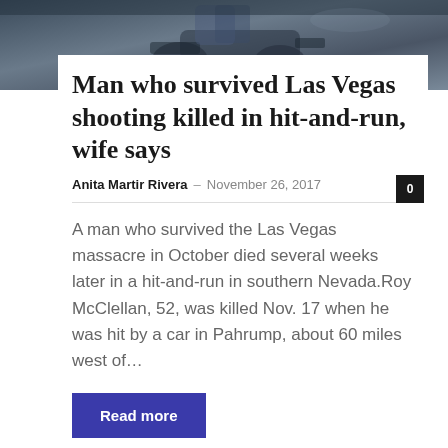[Figure (photo): Dark overhead photo of a person on a motorcycle, serving as article header image]
Man who survived Las Vegas shooting killed in hit-and-run, wife says
Anita Martir Rivera – November 26, 2017
A man who survived the Las Vegas massacre in October died several weeks later in a hit-and-run in southern Nevada.Roy McClellan, 52, was killed Nov. 17 when he was hit by a car in Pahrump, about 60 miles west of…
Read more